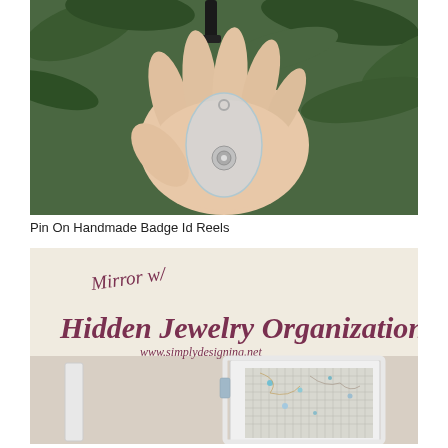[Figure (photo): A hand holding a clear plastic badge reel with a metal snap button and a black clip/cord at the top, against a green leafy background.]
Pin On Handmade Badge Id Reels
[Figure (photo): A white framed mirror with hidden jewelry organization inside, showing a mesh/net panel with necklaces and jewelry hanging on it. Text overlay reads 'Mirror w/ Hidden Jewelry Organization' and 'www.simplydesigning.net' in dark pink/mauve script lettering on a cream/beige background.]